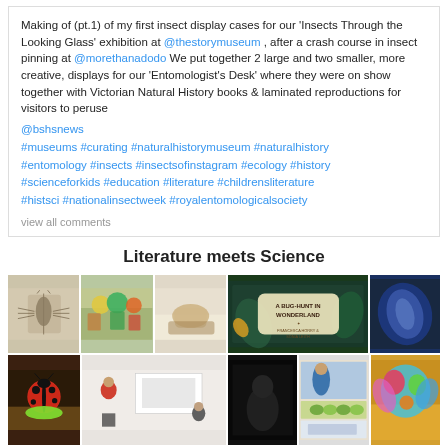Making of (pt.1) of my first insect display cases for our 'Insects Through the Looking Glass' exhibition at @thestorymuseum , after a crash course in insect pinning at @morethanadodo We put together 2 large and two smaller, more creative, displays for our 'Entomologist's Desk' where they were on show together with Victorian Natural History books & laminated reproductions for visitors to peruse
@bshsnews
#museums #curating #naturalhistorymuseum #naturalhistory #entomology #insects #insectsofinstagram #ecology #history #scienceforkids #education #literature #childrensliterature #histsci #nationalinsectweek #royalentomologicalsociety
view all comments
Literature meets Science
[Figure (photo): A collage of photos: insect specimen, colorful cupcakes/cake with insects, hands holding something, a ladybug cupcake, a presentation/lecture scene, a book cover 'A Bug-Hunt in Wonderland', illustrated art panels, a butterfly wing, and a colorful cake decoration.]